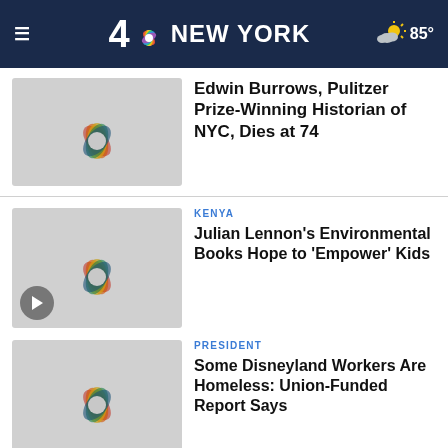4 NBC NEW YORK  85°
Edwin Burrows, Pulitzer Prize-Winning Historian of NYC, Dies at 74
Julian Lennon's Environmental Books Hope to 'Empower' Kids
Some Disneyland Workers Are Homeless: Union-Funded Report Says